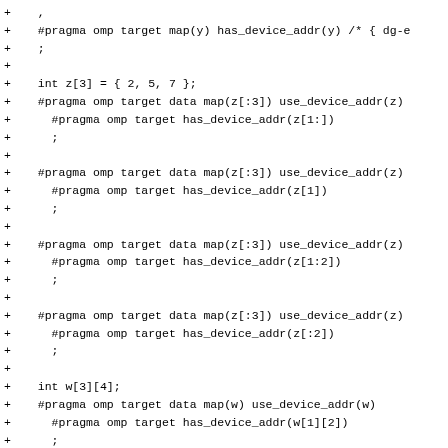Code diff showing OpenMP target pragma directives with has_device_addr and use_device_addr clauses for array variables y, z, and w.